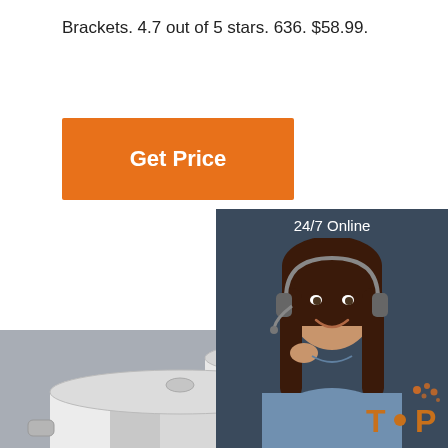Brackets. 4.7 out of 5 stars. 636. $58.99.
[Figure (other): Orange 'Get Price' button]
[Figure (other): 24/7 Online chat widget with woman wearing headset, 'Click here for free chat!' text and orange QUOTATION button]
[Figure (photo): Stainless steel cookware pots with glass lids on grey background]
[Figure (other): Orange 'TOP' badge in bottom right corner]